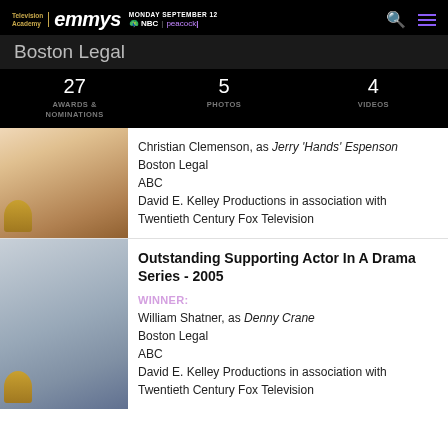Television Academy | emmys | MONDAY SEPTEMBER 12 NBC | peacock
Boston Legal
27 AWARDS & NOMINATIONS | 5 PHOTOS | 4 VIDEOS
Christian Clemenson, as Jerry 'Hands' Espenson
Boston Legal
ABC
David E. Kelley Productions in association with Twentieth Century Fox Television
Outstanding Supporting Actor In A Drama Series - 2005
WINNER:
William Shatner, as Denny Crane
Boston Legal
ABC
David E. Kelley Productions in association with Twentieth Century Fox Television